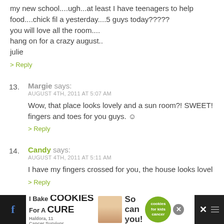my new school....ugh...at least I have teenagers to help food....chick fil a yesterday....5 guys today????? you will love all the room.... hang on for a crazy august.. julie
> Reply
13. Margie says: AUGUST 4TH, 2011 AT 5:07 AM
Wow, that place looks lovely and a sun room?! SWEET! fingers and toes for you guys. :)
> Reply
14. Candy says: AUGUST 4TH, 2011 AT 5:11 AM
I have my fingers crossed for you, the house looks lovel
> Reply
[Figure (screenshot): Advertisement banner: I Bake COOKIES For A CURE with Haldora, 11 Cancer Survivor and So can you! cookies for kids cancer branding]